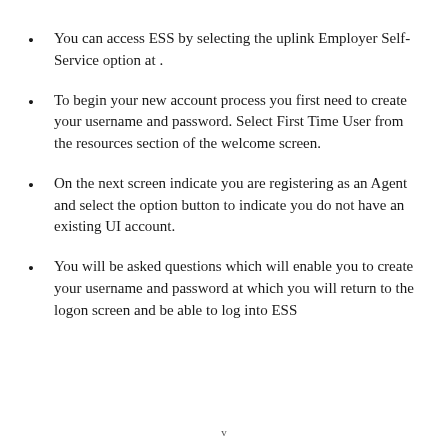You can access ESS by selecting the uplink Employer Self-Service option at .
To begin your new account process you first need to create your username and password. Select First Time User from the resources section of the welcome screen.
On the next screen indicate you are registering as an Agent and select the option button to indicate you do not have an existing UI account.
You will be asked questions which will enable you to create your username and password at which you will return to the logon screen and be able to log into ESS
v